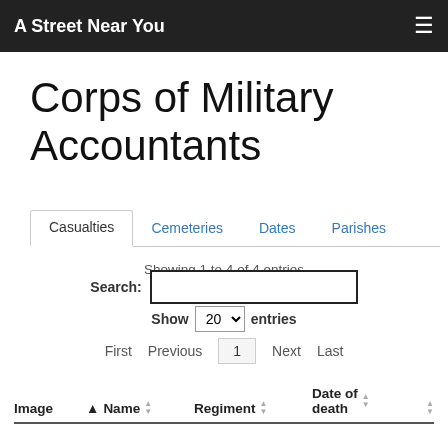A Street Near You
Corps of Military Accountants
Casualties | Cemeteries | Dates | Parishes
Showing 1 to 4 of 4 entries
Search:
Show 20 entries
First  Previous  1  Next  Last
| Image | Name | Regiment | Date of death |
| --- | --- | --- | --- |